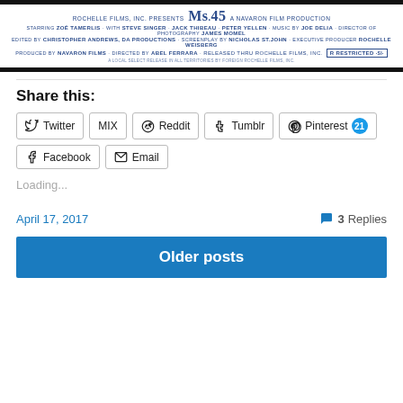[Figure (photo): Movie poster/banner credits for Ms. 45, showing ROCHELLE FILMS, INC. PRESENTS Ms.45 A NAVARON FILM PRODUCTION, with cast and crew credits in blue text on white background, with RESTRICTED rating box.]
Share this:
Twitter | MIX | Reddit | Tumblr | Pinterest 21 | Facebook | Email
Loading...
April 17, 2017
3 Replies
Older posts